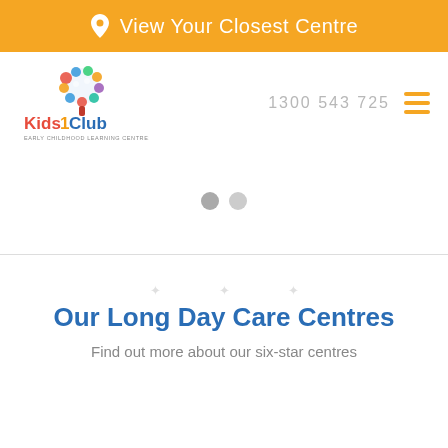View Your Closest Centre
[Figure (logo): Kids Club Early Childhood Learning Centres logo with colourful tree graphic]
1300 543 725
Our Long Day Care Centres
Find out more about our six-star centres